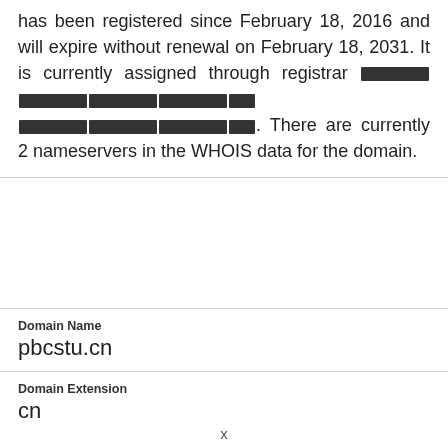has been registered since February 18, 2016 and will expire without renewal on February 18, 2031. It is currently assigned through registrar [REDACTED]. There are currently 2 nameservers in the WHOIS data for the domain.
| Domain Name | pbcstu.cn |
| Domain Extension | cn |